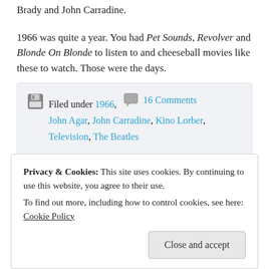Brady and John Carradine.
1966 was quite a year. You had Pet Sounds, Revolver and Blonde On Blonde to listen to and cheeseball movies like these to watch. Those were the days.
Filed under 1966, John Agar, John Carradine, Kino Lorber, Television, The Beatles | 16 Comments
Privacy & Cookies: This site uses cookies. By continuing to use this website, you agree to their use. To find out more, including how to control cookies, see here: Cookie Policy
Close and accept